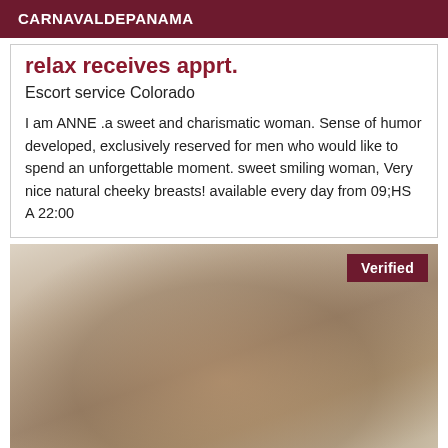CARNAVALDEPANAMA
relax receives apprt.
Escort service Colorado
I am ANNE .a sweet and charismatic woman. Sense of humor developed, exclusively reserved for men who would like to spend an unforgettable moment. sweet smiling woman, Very nice natural cheeky breasts! available every day from 09;HS A 22:00
[Figure (photo): Photo of a blonde woman indoors with a 'Verified' badge in the top right corner]